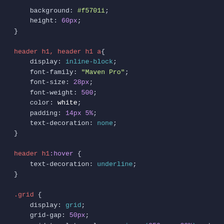CSS code snippet showing background, height, header h1/header h1 a selector block with display, font-family, font-size, font-weight, color, padding, text-decoration properties; header h1:hover block with text-decoration underline; .grid block with display, grid-gap, grid-template-columns, margin, width, height properties.